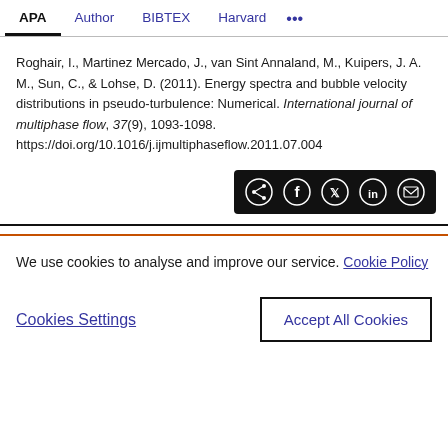APA | Author | BIBTEX | Harvard | ...
Roghair, I., Martinez Mercado, J., van Sint Annaland, M., Kuipers, J. A. M., Sun, C., & Lohse, D. (2011). Energy spectra and bubble velocity distributions in pseudo-turbulence: Numerical. International journal of multiphase flow, 37(9), 1093-1098. https://doi.org/10.1016/j.ijmultiphaseflow.2011.07.004
[Figure (other): Share bar with icons for share, Facebook, Twitter, LinkedIn, and email on a black background]
We use cookies to analyse and improve our service. Cookie Policy
Cookies Settings | Accept All Cookies